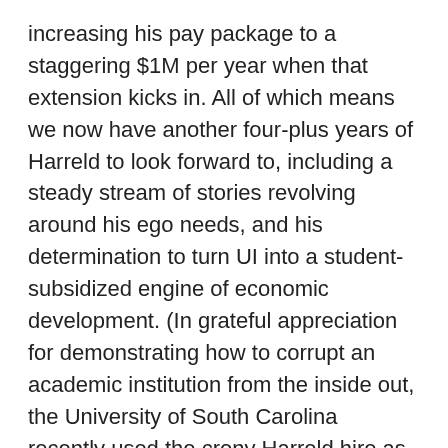increasing his pay package to a staggering $1M per year when that extension kicks in. All of which means we now have another four-plus years of Harreld to look forward to, including a steady stream of stories revolving around his ego needs, and his determination to turn UI into a student-subsidized engine of economic development. (In grateful appreciation for demonstrating how to corrupt an academic institution from the inside out, the University of South Carolina recently used the crony Harreld hire as a template for its own corrupt presidential search.)
The obvious concern with giving an ethically compromised and incompetent man like J. Bruce Harreld eight full years to leave his mark on the University of Iowa, is that the resulting stain may